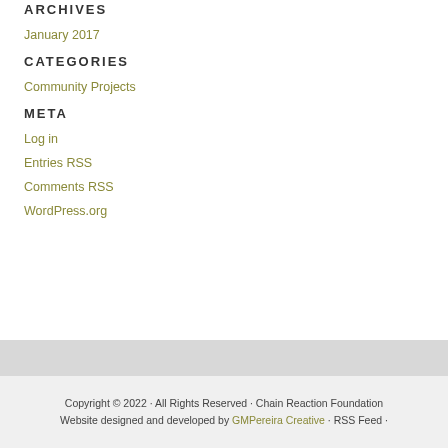ARCHIVES
January 2017
CATEGORIES
Community Projects
META
Log in
Entries RSS
Comments RSS
WordPress.org
Copyright © 2022 · All Rights Reserved · Chain Reaction Foundation Website designed and developed by GMPereira Creative · RSS Feed ·